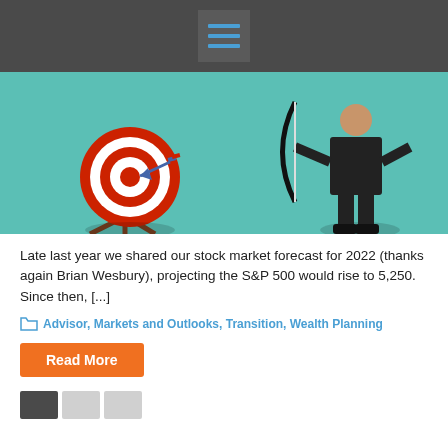[Figure (screenshot): Dark gray header bar with hamburger menu icon (three horizontal blue lines on a gray square background)]
[Figure (illustration): Illustration of a person in black suit holding a bow, having shot an arrow into a red and white bullseye target on a stand, against a teal background]
Late last year we shared our stock market forecast for 2022 (thanks again Brian Wesbury), projecting the S&P 500 would rise to 5,250. Since then, [...]
Advisor, Markets and Outlooks, Transition, Wealth Planning
Read More